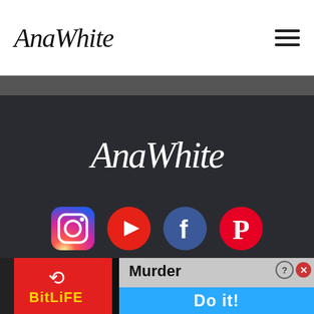AnaWhite
[Figure (logo): AnaWhite handwritten script logo in dark section]
[Figure (infographic): Social media icons row: Instagram, YouTube, Facebook, Pinterest]
FAQ
Terms & Service
[Figure (screenshot): BitLife advertisement banner with Murder Do it! text]